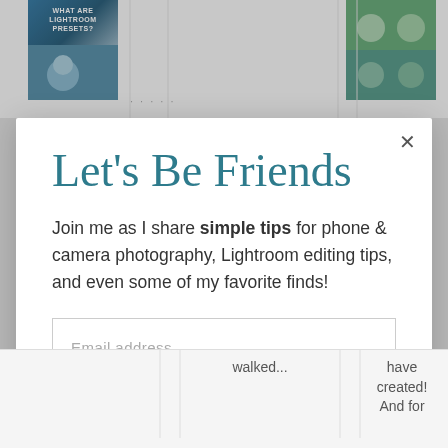[Figure (screenshot): Top strip showing partial website thumbnails: a Lightroom presets image on the left and two people on the right, partially visible behind a modal overlay]
Let's Be Friends
Join me as I share simple tips for phone & camera photography, Lightroom editing tips, and even some of my favorite finds!
Email address
Join The Others
[Figure (screenshot): Bottom strip showing partial text: 'walked...' and 'have created! And for']